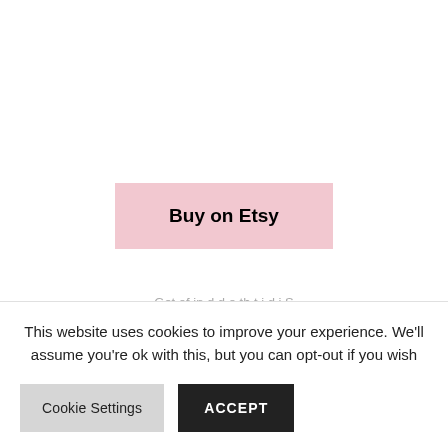Buy on Etsy
This website uses cookies to improve your experience. We'll assume you're ok with this, but you can opt-out if you wish
Cookie Settings
ACCEPT